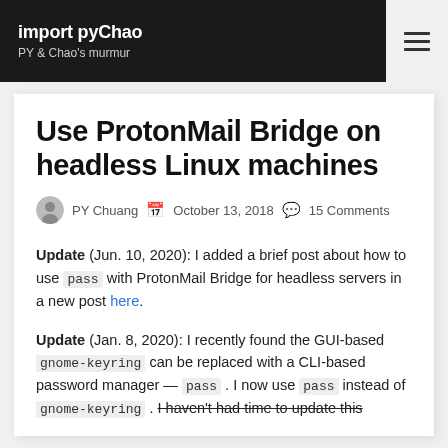import pyChao — PY & Chao's murmur
Use ProtonMail Bridge on headless Linux machines
PY Chuang  October 13, 2018  15 Comments
Update (Jun. 10, 2020): I added a brief post about how to use pass with ProtonMail Bridge for headless servers in a new post here.
Update (Jan. 8, 2020): I recently found the GUI-based gnome-keyring can be replaced with a CLI-based password manager — pass . I now use pass instead of gnome-keyring . I haven't had time to update this